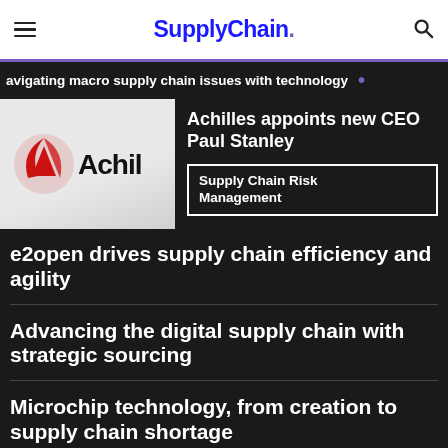SupplyChain.
avigating macro supply chain issues with technology
Achilles appoints new CEO Paul Stanley
Supply Chain Risk Management
e2open drives supply chain efficiency and agility
Advancing the digital supply chain with strategic sourcing
Microchip technology, from creation to supply chain shortage